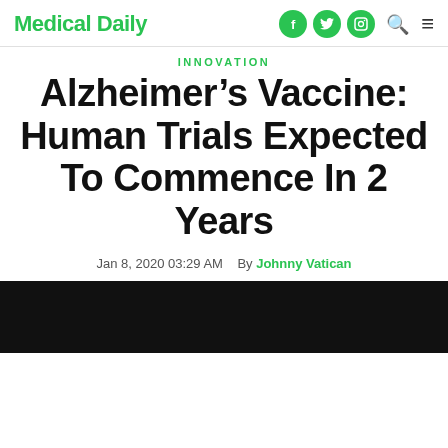Medical Daily
INNOVATION
Alzheimer’s Vaccine: Human Trials Expected To Commence In 2 Years
Jan 8, 2020 03:29 AM  By Johnny Vatican
[Figure (photo): Dark/black image placeholder at the bottom of the article page]